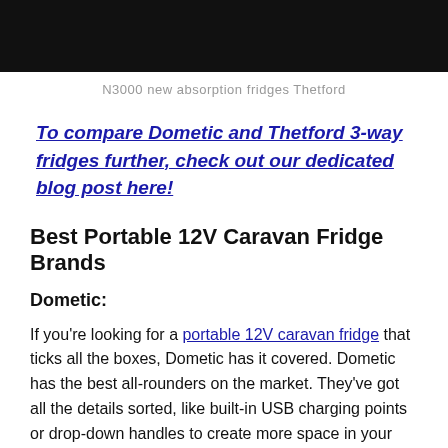[Figure (photo): Black bar at top of page representing an image of N3000 new absorption fridges Thetford]
N3000 new absorption fridges Thetford
To compare Dometic and Thetford 3-way fridges further, check out our dedicated blog post here!
Best Portable 12V Caravan Fridge Brands
Dometic:
If you're looking for a portable 12V caravan fridge that ticks all the boxes, Dometic has it covered. Dometic has the best all-rounders on the market. They've got all the details sorted, like built-in USB charging points or drop-down handles to create more space in your caravan or 4×4.